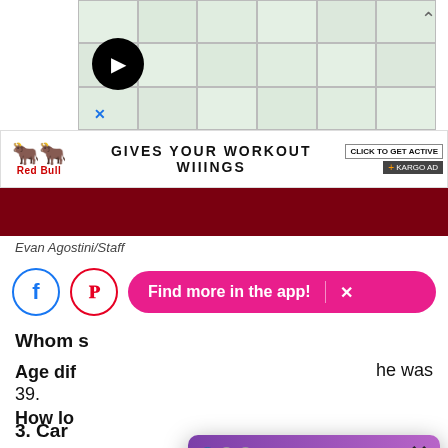[Figure (screenshot): Top advertisement banner with map background and circular black icon]
[Figure (screenshot): Red Bull advertisement strip: GIVES YOUR WORKOUT WIIINGS with Click to Get Active button and Kargo Ad tag]
[Figure (photo): Dark red photo strip - partial image of person]
Evan Agostini/Staff
[Figure (screenshot): Social sharing buttons (Facebook, Pinterest) and pink Find more in the app! button with X]
Whom s
Age dif he was 39.
How lo
Cougar ear-old Omar W
3. Car
[Figure (screenshot): Newsletter signup popup modal. Header: You even online? We're Chronically Online And Saw It On TikTok First! Join our newsletter. Email address input field. Sign Me Up! button. No Thanks link.]